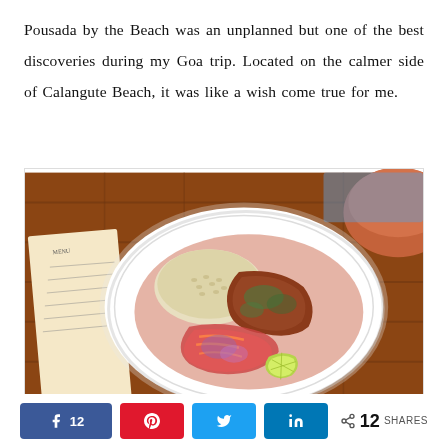Pousada by the Beach was an unplanned but one of the best discoveries during my Goa trip. Located on the calmer side of Calangute Beach, it was like a wish come true for me.
[Figure (photo): Overhead view of a white plate with food — rice, a piece of fish or meat with herbs, colorful vegetable salad, and a lime wedge — placed on a wooden table with a menu visible on the left side.]
f 12  [Pinterest icon]  [Twitter icon]  in  < 12 SHARES